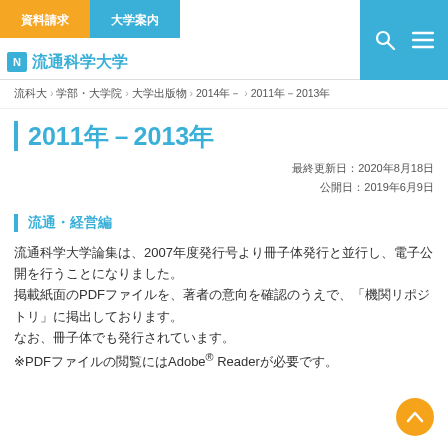資料請求　大学案内　流通科学大学
流科大 > 学部・大学院 > 大学出版物 > 2014年－ > 2011年－2013年
2011年－2013年
最終更新日：2020年8月18日
公開日：2019年6月9日
流通・経営編
流通科学大学論集は、2007年度発行号より冊子体発行と並行し、電子公開を行うことになりました。
掲載紙面のPDFファイルを、著者の意向を確認のうえで、「機関リポジトリ」に掲出しております。
なお、冊子体でも発行されています。
※PDFファイルの閲覧にはAdobe® Readerが必要です。